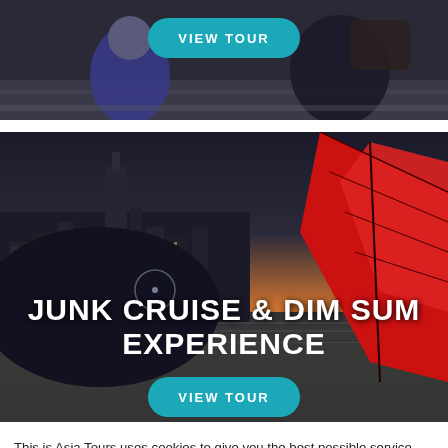[Figure (photo): Top portion of a travel photo showing people, partially visible, dark tones with a 'VIEW TOUR' button overlay]
[Figure (photo): Hong Kong skyline at dusk with a red junk boat sail in the foreground. Text overlay reads 'JUNK CRUISE & DIM SUM EXPERIENCE' with a 'VIEW TOUR' button.]
This is Asia Tours uses cookies to give you the best possible service. If you continue browsing, you agree to our use of cookies. More details can be found in our privacy policy.